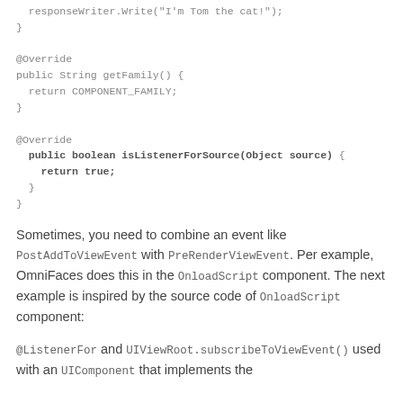responseWriter.Write("I'm Tom the cat!");
}

@Override
public String getFamily() {
  return COMPONENT_FAMILY;
}

@Override
  public boolean isListenerForSource(Object source) {
    return true;
  }
}
Sometimes, you need to combine an event like PostAddToViewEvent with PreRenderViewEvent. Per example, OmniFaces does this in the OnloadScript component. The next example is inspired by the source code of OnloadScript component:
@ListenerFor and UIViewRoot.subscribeToViewEvent() used with an UIComponent that implements the